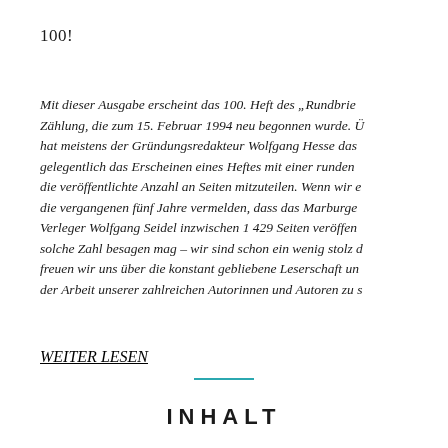100!
Mit dieser Ausgabe erscheint das 100. Heft des „Rundbrie... Zählung, die zum 15. Februar 1994 neu begonnen wurde. Ü... hat meistens der Gründungsredakteur Wolfgang Hesse das ... gelegentlich das Erscheinen eines Heftes mit einer runden ... die veröffentlichte Anzahl an Seiten mitzuteilen. Wenn wir e... die vergangenen fünf Jahre vermelden, dass das Marburge... Verleger Wolfgang Seidel inzwischen 1 429 Seiten veröffen... solche Zahl besagen mag – wir sind schon ein wenig stolz d... freuen wir uns über die konstant gebliebene Leserschaft un... der Arbeit unserer zahlreichen Autorinnen und Autoren zu ...
WEITER LESEN
INHALT